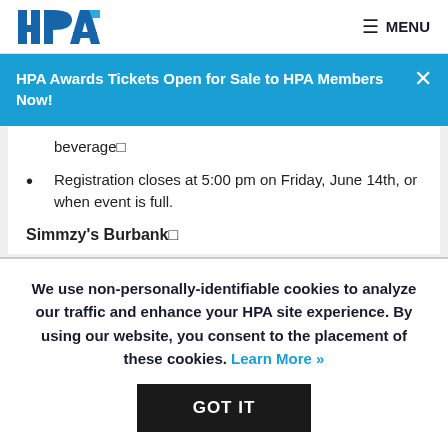HPA | MENU
HPA Awards Tickets Open for Sale to HPA Members Now!
beverage⬜
Registration closes at 5:00 pm on Friday, June 14th, or when event is full.
Simmzy's Burbank⬜
We use non-personally-identifiable cookies to analyze our traffic and enhance your HPA site experience. By using our website, you consent to the placement of these cookies. Learn More »
GOT IT